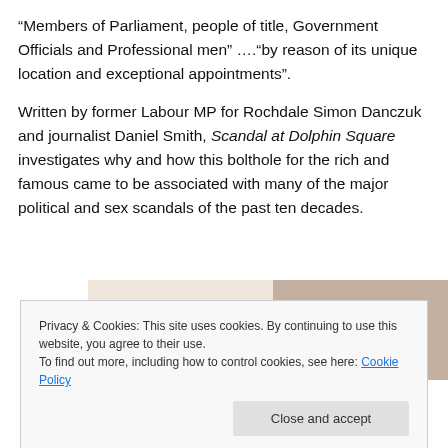“Members of Parliament, people of title, Government Officials and Professional men” ….“by reason of its unique location and exceptional appointments”.
Written by former Labour MP for Rochdale Simon Danczuk and journalist Daniel Smith, Scandal at Dolphin Square investigates why and how this bolthole for the rich and famous came to be associated with many of the major political and sex scandals of the past ten decades.
[Figure (photo): Partially visible image showing a person's hands on what appears to be a book or surface, with a pink/beige background area to the left]
Privacy & Cookies: This site uses cookies. By continuing to use this website, you agree to their use.
To find out more, including how to control cookies, see here: Cookie Policy